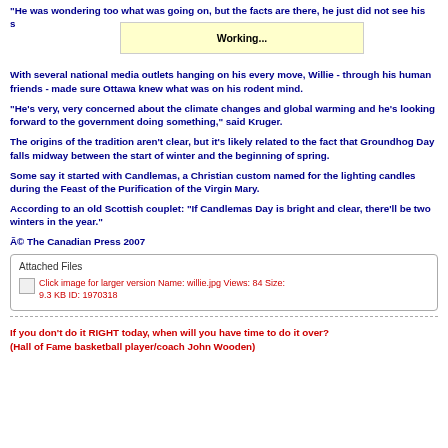"He was wondering too what was going on, but the facts are there, he just did not see his s[hadow],"
With several national media outlets hanging on his every move, Willie - through his human friends - made sure Ottawa knew what was on his rodent mind.
"He's very, very concerned about the climate changes and global warming and he's looking forward to the government doing something," said Kruger.
The origins of the tradition aren't clear, but it's likely related to the fact that Groundhog Day falls midway between the start of winter and the beginning of spring.
Some say it started with Candlemas, a Christian custom named for the lighting candles during the Feast of the Purification of the Virgin Mary.
According to an old Scottish couplet: "If Candlemas Day is bright and clear, there'll be two winters in the year."
© The Canadian Press 2007
| Attached Files |
| --- |
| Click image for larger version Name: willie.jpg Views: 84 Size: 9.3 KB ID: 1970318 |
If you don't do it RIGHT today, when will you have time to do it over? (Hall of Fame basketball player/coach John Wooden)